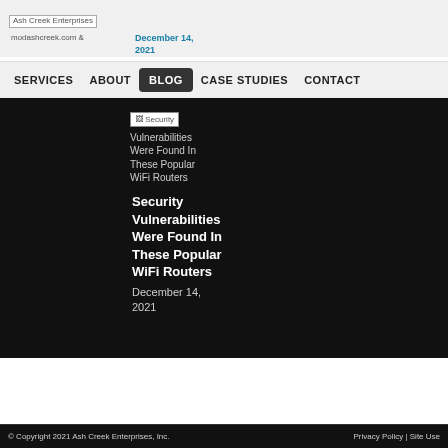Ash Creek Enterprises
modashcreek.com | December 14, 2021
SERVICES | ABOUT | BLOG | CASE STUDIES | CONTACT
[Figure (screenshot): Broken image placeholder for Security Vulnerabilities Were Found In These Popular WiFi Routers article image]
Security Vulnerabilities Were Found In These Popular WiFi Routers
Security Vulnerabilities Were Found In These Popular WiFi Routers
December 14, 2021
© Copyright 2021 Ash Creek Enterprises, Inc.   Privacy Policy | Site Use